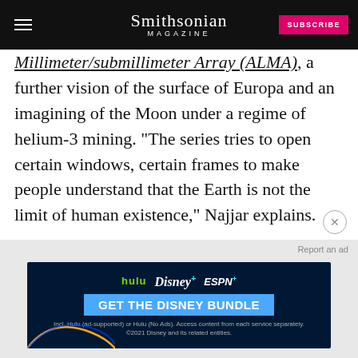Smithsonian MAGAZINE | SUBSCRIBE
Millimeter/submillimeter Array (ALMA), a further vision of the surface of Europa and an imagining of the Moon under a regime of helium-3 mining. "The series tries to open certain windows, certain frames to make people understand that the Earth is not the limit of human existence," Najjar explains.
[Figure (other): Advertisement banner for Disney Bundle (Hulu, Disney+, ESPN+). Text reads: GET THE DISNEY BUNDLE. Incl. Hulu (ad-supported) or Hulu (No Ads). Access content from each service separately. ©2021 Disney and its related entities.]